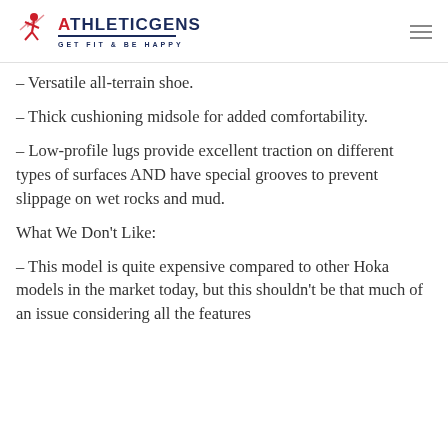ATHLETICGENS — GET FIT & BE HAPPY
– Versatile all-terrain shoe.
– Thick cushioning midsole for added comfortability.
– Low-profile lugs provide excellent traction on different types of surfaces AND have special grooves to prevent slippage on wet rocks and mud.
What We Don't Like:
– This model is quite expensive compared to other Hoka models in the market today, but this shouldn't be that much of an issue considering all the features